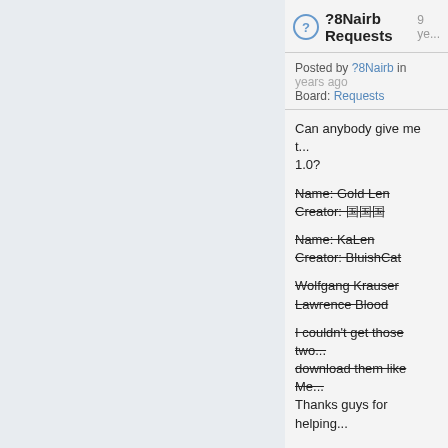?8Nairb Requests  9 years ago
Posted by ?8Nairb in ... years ago
Board: Requests
Can anybody give me t... 1.0?
Name: Gold Len
Creator: 国国国
Name: KaLen
Creator: BluishCat
Wolfgang Krauser
Lawrence Blood
I couldn't get those two... download them like Me... Thanks guys for helping...